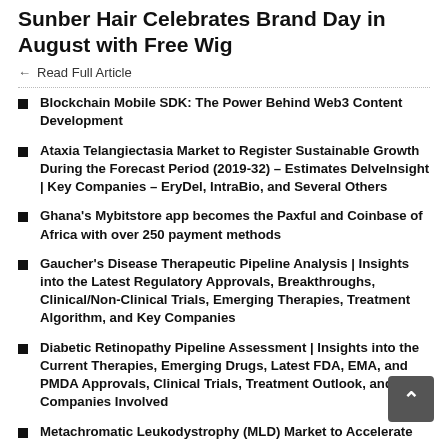Sunber Hair Celebrates Brand Day in August with Free Wig
Read Full Article
Blockchain Mobile SDK: The Power Behind Web3 Content Development
Ataxia Telangiectasia Market to Register Sustainable Growth During the Forecast Period (2019-32) – Estimates DelveInsight | Key Companies – EryDel, IntraBio, and Several Others
Ghana's Mybitstore app becomes the Paxful and Coinbase of Africa with over 250 payment methods
Gaucher's Disease Therapeutic Pipeline Analysis | Insights into the Latest Regulatory Approvals, Breakthroughs, Clinical/Non-Clinical Trials, Emerging Therapies, Treatment Algorithm, and Key Companies
Diabetic Retinopathy Pipeline Assessment | Insights into the Current Therapies, Emerging Drugs, Latest FDA, EMA, and PMDA Approvals, Clinical Trials, Treatment Outlook, and Key Companies Involved
Metachromatic Leukodystrophy (MLD) Market to Accelerate